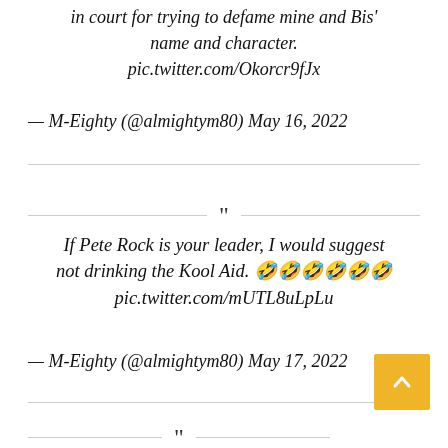in court for trying to defame mine and Bis' name and character. pic.twitter.com/Okorcr9fJx
— M-Eighty (@almightym80) May 16, 2022
If Pete Rock is your leader, I would suggest not drinking the Kool Aid. 🤣🤣🤣🤣🤣🤣 pic.twitter.com/mUTL8uLpLu
— M-Eighty (@almightym80) May 17, 2022